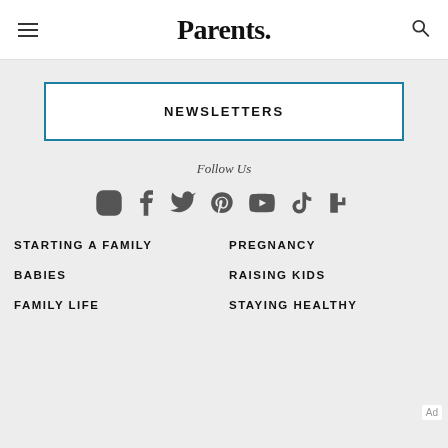Parents.
NEWSLETTERS
Follow Us
[Figure (other): Social media icons: Instagram, Facebook, Twitter, Pinterest, YouTube, TikTok, Flipboard]
STARTING A FAMILY
PREGNANCY
BABIES
RAISING KIDS
FAMILY LIFE
STAYING HEALTHY